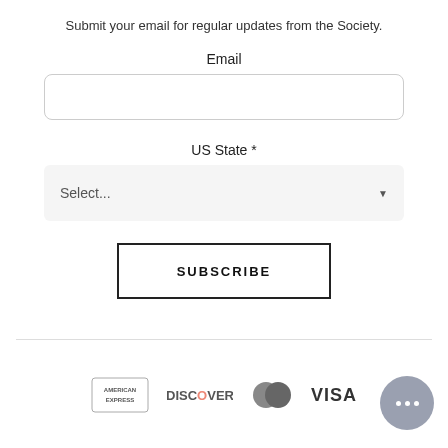Submit your email for regular updates from the Society.
Email
[Figure (screenshot): Empty email input text field with rounded border]
US State *
[Figure (screenshot): Dropdown select field with placeholder 'Select...' and dropdown arrow]
[Figure (screenshot): SUBSCRIBE button with rectangular border]
[Figure (infographic): Payment method logos: American Express, Discover, MasterCard, Visa]
[Figure (screenshot): Chat bubble icon with three dots]